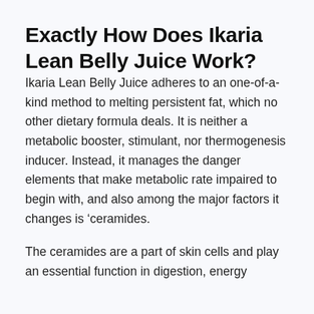Exactly How Does Ikaria Lean Belly Juice Work?
Ikaria Lean Belly Juice adheres to an one-of-a-kind method to melting persistent fat, which no other dietary formula deals. It is neither a metabolic booster, stimulant, nor thermogenesis inducer. Instead, it manages the danger elements that make metabolic rate impaired to begin with, and also among the major factors it changes is ‘ceramides.
The ceramides are a part of skin cells and play an essential function in digestion, energy manufacture, and fat accumulation. Ceramides is